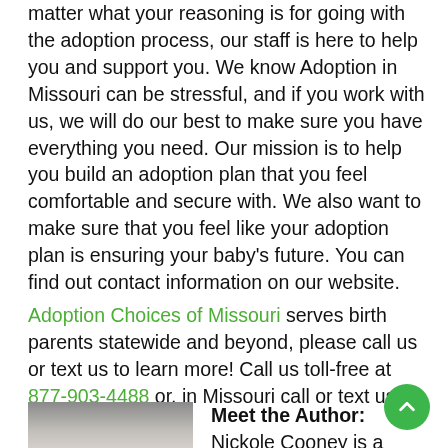matter what your reasoning is for going with the adoption process, our staff is here to help you and support you. We know Adoption in Missouri can be stressful, and if you work with us, we will do our best to make sure you have everything you need. Our mission is to help you build an adoption plan that you feel comfortable and secure with. We also want to make sure that you feel like your adoption plan is ensuring your baby's future. You can find out contact information on our website.
Adoption Choices of Missouri serves birth parents statewide and beyond, please call us or text us to learn more! Call us toll-free at 877-903-4488 or, in Missouri call or text us at 816-527-9800
Meet the Author: Nickole Cooney is a senior at Arizona